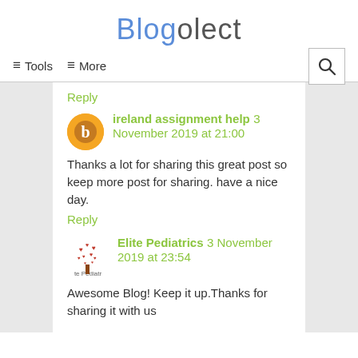Blogolect
≡ Tools   ≡ More   🔍
Reply
ireland assignment help  3 November 2019 at 21:00
Thanks a lot for sharing this great post so keep more post for sharing. have a nice day.
Reply
Elite Pediatrics  3 November 2019 at 23:54
Awesome Blog! Keep it up.Thanks for sharing it with us